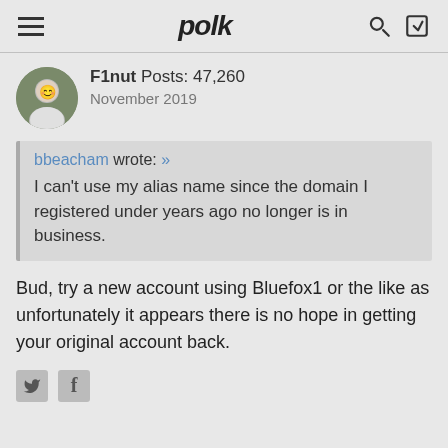polk
F1nut Posts: 47,260
November 2019
bbeacham wrote: »
I can't use my alias name since the domain I registered under years ago no longer is in business.
Bud, try a new account using Bluefox1 or the like as unfortunately it appears there is no hope in getting your original account back.